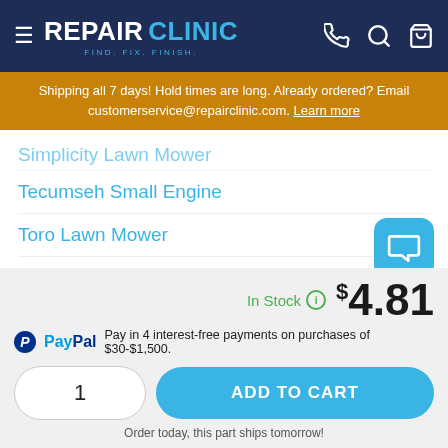REPAIR CLINIC - FIND. FIX. FINISH.
Shipping all 7 days! Hold times are long. Already ordered? Email customerservice@repairclinic.com. Learn more
Simplicity Lawn Mower
Tecumseh Small Engine
Toro Lawn Mower
Toro Small Engine
Toro Generator
In Stock  $4.81
Pay in 4 interest-free payments on purchases of $30-$1,500.
1
ADD TO CART
Order today, this part ships tomorrow!